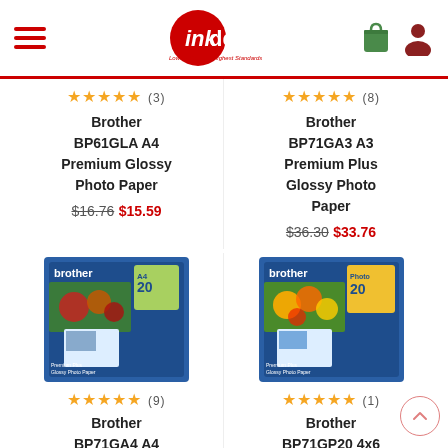[Figure (screenshot): Ink Depot website header with hamburger menu icon on left, Ink Depot logo in center, shopping bag and user icons on right]
★★★★★ (3)
Brother BP61GLA A4 Premium Glossy Photo Paper
$16.76 $15.59
★★★★★ (8)
Brother BP71GA3 A3 Premium Plus Glossy Photo Paper
$36.30 $33.76
[Figure (photo): Brother BP71GA4 A4 Premium Plus Glossy Photo Paper product box image]
[Figure (photo): Brother BP71GP20 4x6 inch Premium Plus Glossy Photo Paper product box image]
★★★★★ (9)
Brother BP71GA4 A4 Premium Plus Glossy Photo
★★★★★ (1)
Brother BP71GP20 4x6 inch Premium Plus Glossy